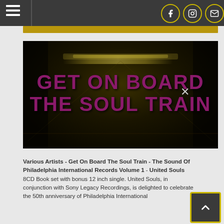Navigation bar with hamburger menu and social icons (Facebook, Instagram, Email)
[Figure (photo): Dark cinematic image of a train corridor/tunnel with large purple bold text reading 'GET ON BOARD THE SOUL TRAIN' and an X close button in the upper right corner]
Various Artists - Get On Board The Soul Train - The Sound Of Philadelphia International Records Volume 1 - United Souls 8CD Book set with bonus 12 inch single. United Souls, in conjunction with Sony Legacy Recordings, is delighted to celebrate the 50th anniversary of Philadelphia International